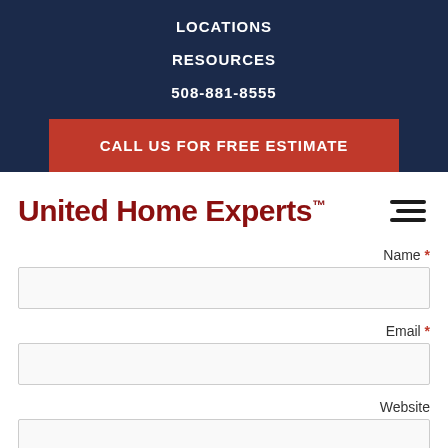LOCATIONS
RESOURCES
508-881-8555
CALL US FOR FREE ESTIMATE
United Home Experts™
Name *
Email *
Website